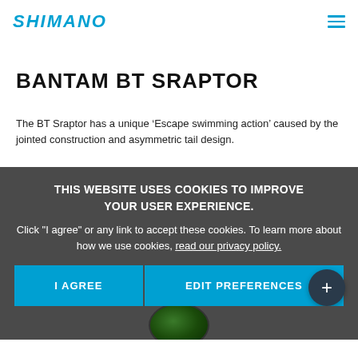SHIMANO
BANTAM BT SRAPTOR
The BT Sraptor has a unique ‘Escape swimming action’ caused by the jointed construction and asymmetric tail design.
THIS WEBSITE USES COOKIES TO IMPROVE YOUR USER EXPERIENCE. Click "I agree" or any link to accept these cookies. To learn more about how we use cookies, read our privacy policy.
I AGREE   EDIT PREFERENCES